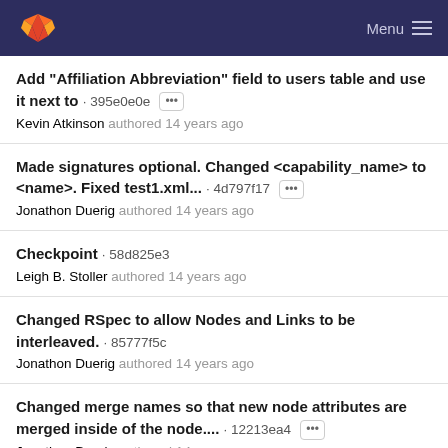GitLab — Menu
Add "Affiliation Abbreviation" field to users table and use it next to · 395e0e0e
Kevin Atkinson authored 14 years ago
Made signatures optional. Changed <capability_name> to <name>. Fixed test1.xml... · 4d797f17
Jonathon Duerig authored 14 years ago
Checkpoint · 58d825e3
Leigh B. Stoller authored 14 years ago
Changed RSpec to allow Nodes and Links to be interleaved. · 85777f5c
Jonathon Duerig authored 14 years ago
Changed merge names so that new node attributes are merged inside of the node.... · 12213ea4
Jonathon Duerig authored 14 years ago